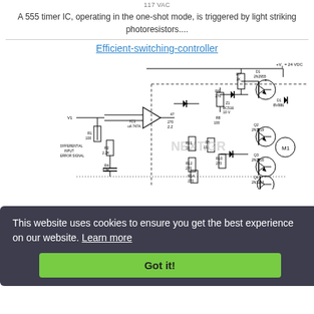117 VAC
A 555 timer IC, operating in the one-shot mode, is triggered by light striking photoresistors....
Efficient-switching-controller
[Figure (circuit-diagram): Efficient switching controller circuit diagram showing op-amp, transistors (2N2955, 2N3219, 2N2955, 2N3213), diodes (1N4003), zener diode (10V), resistors (R1 100, R2 2.2K, R4 7.2K, R5 100, R6 270, R7 1K, R8 270, R10 270, R11 1K, R12 270, R14 270), IC1 uA 747A, motor M1, and label NEXT.GR. Power supply +24 VDC. Differential input error signal labels.]
This website uses cookies to ensure you get the best experience on our website. Learn more
Got it!
serv
Top